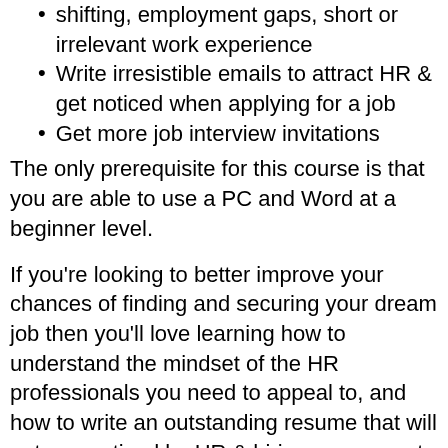shifting, employment gaps, short or irrelevant work experience
Write irresistible emails to attract HR & get noticed when applying for a job
Get more job interview invitations
The only prerequisite for this course is that you are able to use a PC and Word at a beginner level.
If you're looking to better improve your chances of finding and securing your dream job then you'll love learning how to understand the mindset of the HR professionals you need to appeal to, and how to write an outstanding resume that will get you noticed by HR & hiring managers to get more interviews!
More specifically this course will help you learn how to present your strengths and qualifications effectively and convincingly, make you more aware of the best ways to structure content for a strong resume, and give you the confidence you need when applying for the